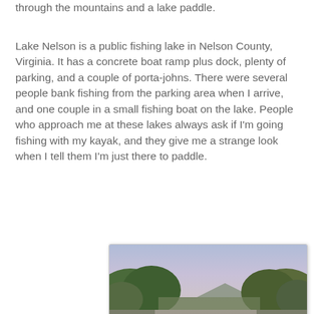through the mountains and a lake paddle.
Lake Nelson is a public fishing lake in Nelson County, Virginia. It has a concrete boat ramp plus dock, plenty of parking, and a couple of porta-johns. There were several people bank fishing from the parking area when I arrive, and one couple in a small fishing boat on the lake. People who approach me at these lakes always ask if I'm going fishing with my kayak, and they give me a strange look when I tell them I'm just there to paddle.
[Figure (photo): A calm lake viewed from water level, with green tree-lined shores on both sides, a mountain visible in the background, and a purple-blue sky above. The foreground shows brownish still water.]